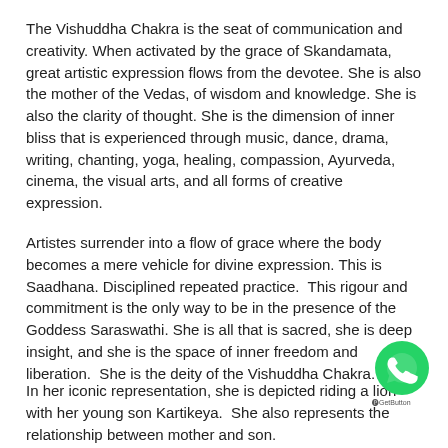The Vishuddha Chakra is the seat of communication and creativity. When activated by the grace of Skandamata, great artistic expression flows from the devotee. She is also the mother of the Vedas, of wisdom and knowledge. She is also the clarity of thought. She is the dimension of inner bliss that is experienced through music, dance, drama, writing, chanting, yoga, healing, compassion, Ayurveda, cinema, the visual arts, and all forms of creative expression.
Artistes surrender into a flow of grace where the body becomes a mere vehicle for divine expression. This is Saadhana. Disciplined repeated practice.  This rigour and commitment is the only way to be in the presence of the Goddess Saraswathi. She is all that is sacred, she is deep insight, and she is the space of inner freedom and liberation.  She is the deity of the Vishuddha Chakra.
In her iconic representation, she is depicted riding a lion with her young son Kartikeya.  She also represents the relationship between mother and son.
[Figure (illustration): WhatsApp contact button (green circle with phone/WhatsApp icon) and GetButton label in bottom right corner]